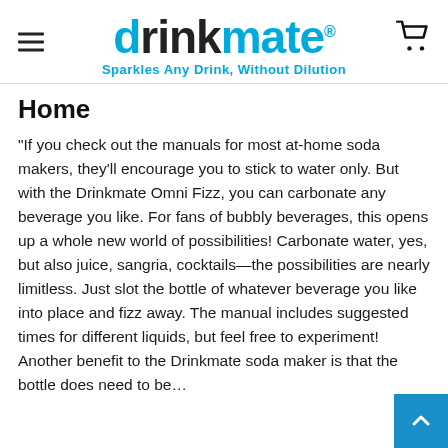drinkmate® — Sparkles Any Drink, Without Dilution
Home
"If you check out the manuals for most at-home soda makers, they'll encourage you to stick to water only. But with the Drinkmate Omni Fizz, you can carbonate any beverage you like. For fans of bubbly beverages, this opens up a whole new world of possibilities! Carbonate water, yes, but also juice, sangria, cocktails—the possibilities are nearly limitless. Just slot the bottle of whatever beverage you like into place and fizz away. The manual includes suggested times for different liquids, but feel free to experiment! Another benefit to the Drinkmate soda maker is that the bottle does need to be...